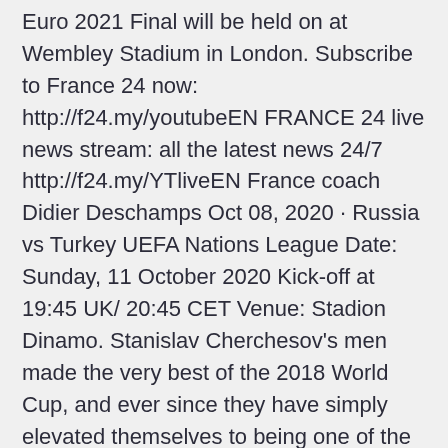Euro 2021 Final will be held on at Wembley Stadium in London. Subscribe to France 24 now: http://f24.my/youtubeEN FRANCE 24 live news stream: all the latest news 24/7 http://f24.my/YTliveEN France coach Didier Deschamps Oct 08, 2020 · Russia vs Turkey UEFA Nations League Date: Sunday, 11 October 2020 Kick-off at 19:45 UK/ 20:45 CET Venue: Stadion Dinamo. Stanislav Cherchesov's men made the very best of the 2018 World Cup, and ever since they have simply elevated themselves to being one of the very best teams in the whole of Europe. Nov 30, 2019 · England have been drawn against Croatia and the Czech Republic at UEFA EURO 2020, with Wales alongside Italy, Switzerland and Turkey in Group A. The winners of Scotland's play-off path, which Jun 11, 2021 · Turkey vs Italy LIVE: Euro 2020 team news, line-ups and latest build-up 06/11/20. Euro 2021 · Italy Foot